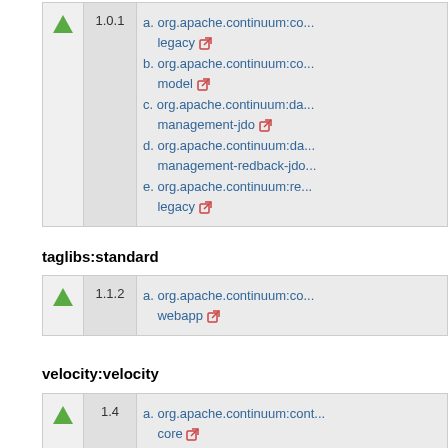| icon | version | dependencies |
| --- | --- | --- |
| ▲ | 1.0.1 | a. org.apache.continuum:co...legacy
b. org.apache.continuum:co...model
c. org.apache.continuum:da...management-jdo
d. org.apache.continuum:da...management-redback-jdo
e. org.apache.continuum:re...legacy |
taglibs:standard
| icon | version | dependencies |
| --- | --- | --- |
| ▲ | 1.1.2 | a. org.apache.continuum:co...webapp |
velocity:velocity
| icon | version | dependencies |
| --- | --- | --- |
| ▲ | 1.4 | a. org.apache.continuum:cont...core |